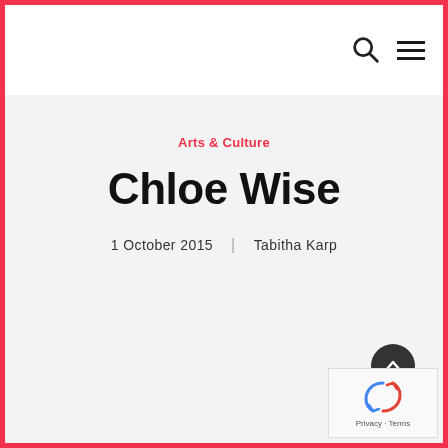Arts & Culture — Chloe Wise — 1 October 2015 | Tabitha Karp
Arts & Culture
Chloe Wise
1 October 2015  |  Tabitha Karp